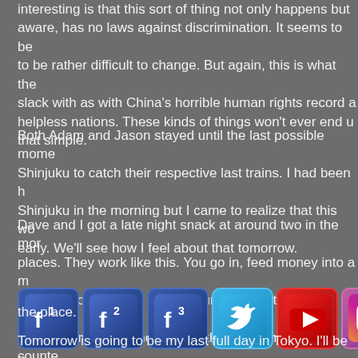interesting is that this sort of thing not only happens but aware, has no laws against discrimination. It seems to be to be rather difficult to change. But again, this is what the slack with as with China's horrible human rights record a helpless nations. These kinds of things won't ever end u that simple.
Both Adam and Jason stayed until the last possible mome Shinjuku to catch their respective last trains. I had been h Shinjuku in the morning but I came to realize that this wo early. We'll see how I feel about that tomorrow.
Dave and I got a late night snack at around two in the mor places. They work like this. You go in, feed money into a m which, if you're lucky, have pictures of what you're selecti print out and you hand them to the guy behind the counte you ordered. It seems like a strange way of doing things a more sense it makes. Why bother handling money at all if there's no such thing as a tip? It actually makes everythin the crazy system I witnessed in China where you had to v
[Figure (other): A row of social media and function key toolbar icons: Facebook (f1), Facebook (f2), Facebook (f3), Twitter, YouTube, Instagram, F7, F8, F9]
the place.
Tomorrow is going to be my last full day in Tokyo. I'll be g